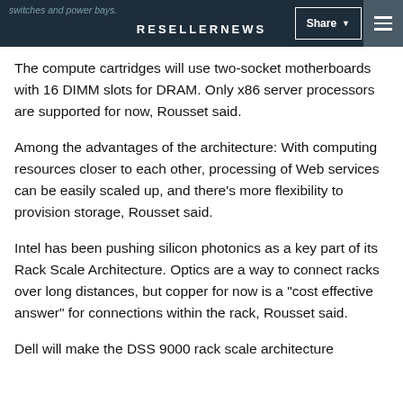switches and power bays. RESELLERNEWS
The compute cartridges will use two-socket motherboards with 16 DIMM slots for DRAM. Only x86 server processors are supported for now, Rousset said.
Among the advantages of the architecture: With computing resources closer to each other, processing of Web services can be easily scaled up, and there's more flexibility to provision storage, Rousset said.
Intel has been pushing silicon photonics as a key part of its Rack Scale Architecture. Optics are a way to connect racks over long distances, but copper for now is a "cost effective answer" for connections within the rack, Rousset said.
Dell will make the DSS 9000 rack scale architecture